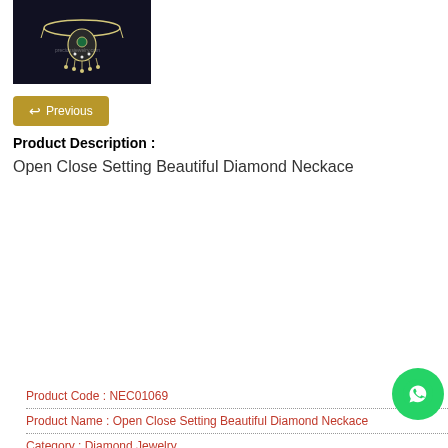[Figure (photo): Diamond necklace product photo on dark background]
Previous
Product Description :
Open Close Setting Beautiful Diamond Neckace
| Product Code : NEC01069 |
| Product Name : Open Close Setting Beautiful Diamond Neckace |
| Category : Diamond Jewelry |
| Gold Purity : 18Kt 750 BIS Hallmark |
| Diamond Clarity : VVS |
| Diamond Color : EF |
| Diamond Certification : IGI Natural Diamonds Certification |
| Delivery in India between 13-Oct-2022 to 23-Oct-2022 |
[Figure (logo): WhatsApp contact button (green circle with phone icon)]